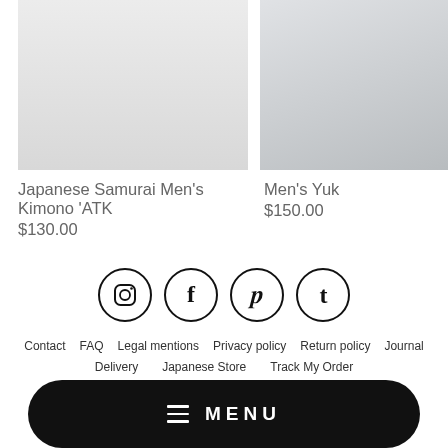Japanese Samurai Men's Kimono 'ATK
$130.00
Men's Yuk
$150.00
[Figure (illustration): Social media icons in circles: Instagram, Facebook, Pinterest, Tumblr]
Contact   FAQ   Legal mentions   Privacy policy   Return policy   Journal
Delivery   Japanese Store   Track My Order
[Figure (illustration): Payment method icons: American Express, Apple Pay, Mastercard, PayPal, Visa]
MENU